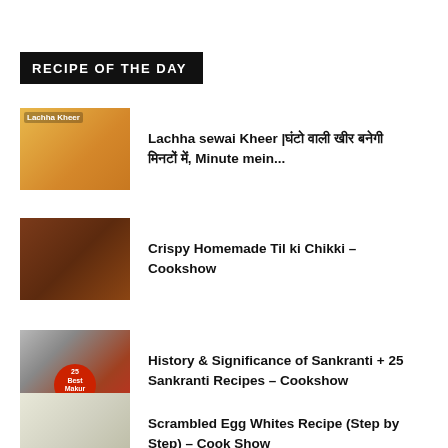RECIPE OF THE DAY
Lachha sewai Kheer |घंटो वाली खीर बनेगी मिनटों में, Minute mein...
Crispy Homemade Til ki Chikki – Cookshow
History & Significance of Sankranti + 25 Sankranti Recipes – Cookshow
Scrambled Egg Whites Recipe (Step by Step) – Cook Show